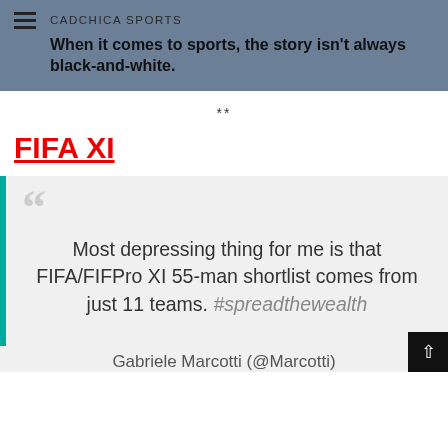CADCHICA SPORTS
When it comes to sports, the story isn't always black-and-white.
**
FIFA XI
Most depressing thing for me is that FIFA/FIFPro XI 55-man shortlist comes from just 11 teams. #spreadthewealth
Gabriele Marcotti (@Marcotti)